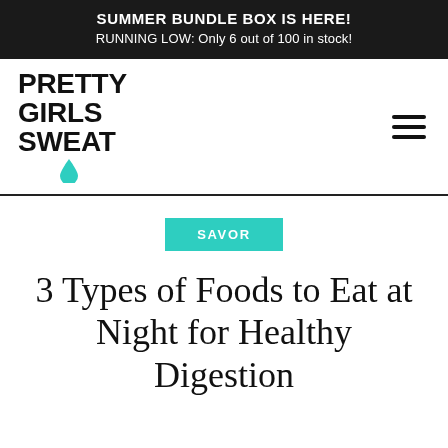SUMMER BUNDLE BOX IS HERE!
RUNNING LOW: Only 6 out of 100 in stock!
[Figure (logo): Pretty Girls Sweat logo with teal water drop]
SAVOR
3 Types of Foods to Eat at Night for Healthy Digestion